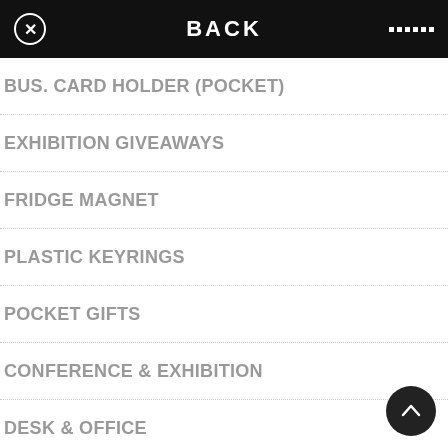BACK
BUS. CARD HOLDER (POCKET)
EXHIBITION GIVEAWAYS
FRIDGE MAGNET
PLASTIC KEYRINGS
POCKET GIFTS
CONFERENCE & EXHIBITION
DESK & OFFICE
DRINKS
[Figure (photo): A cork-material keyring or tag shaped item with a red cord/lanyard and a black cap/top, hanging. Partial text label visible: 'GE', 'SIDE', 'C &', 'NCE'.]